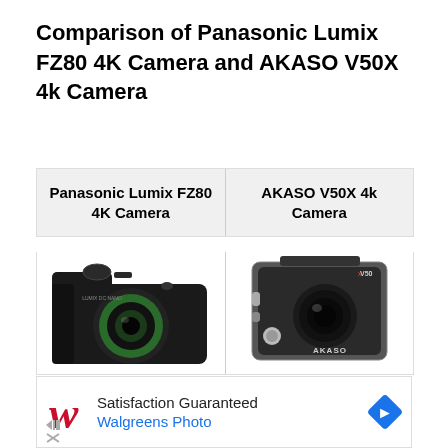Comparison of Panasonic Lumix FZ80 4K Camera and AKASO V50X 4k Camera
| Panasonic Lumix FZ80 4K Camera | AKASO V50X 4k Camera |
| --- | --- |
[Figure (photo): Photo of Panasonic Lumix FZ80 4K camera on the left and AKASO V50X 4k action camera in waterproof case on the right]
[Figure (other): Advertisement banner: Walgreens Photo – Satisfaction Guaranteed with Walgreens cursive W logo and blue navigation arrow icon]